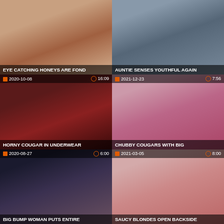[Figure (photo): Video thumbnail - Eye catching honeys are fond, date 2020-10-08 (no meta shown in top row), no time shown]
EYE CATCHING HONEYS ARE FOND
[Figure (photo): Video thumbnail - Auntie senses youthful again]
AUNTIE SENSES YOUTHFUL AGAIN
[Figure (photo): Video thumbnail - Horny cougar in underwear, date 2020-10-08, duration 16:09]
HORNY COUGAR IN UNDERWEAR
[Figure (photo): Video thumbnail - Chubby cougars with big, date 2021-12-23, duration 7:56]
CHUBBY COUGARS WITH BIG
[Figure (photo): Video thumbnail - Big bump woman puts entire, date 2020-08-27, duration 6:00]
BIG BUMP WOMAN PUTS ENTIRE
[Figure (photo): Video thumbnail - Saucy blondes open backside, date 2021-03-05, duration 8:00]
SAUCY BLONDES OPEN BACKSIDE